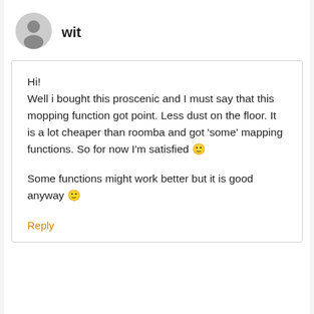[Figure (illustration): Generic user avatar icon — grey silhouette of a person in a circle]
wit
Hi!
Well i bought this proscenic and I must say that this mopping function got point. Less dust on the floor. It is a lot cheaper than roomba and got ‘some’ mapping functions. So for now I’m satisfied 🙂
Some functions might work better but it is good anyway 🙂
Reply